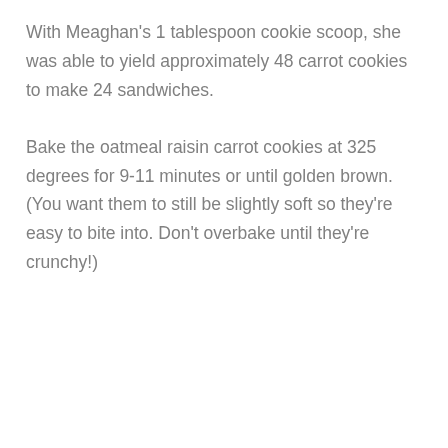With Meaghan's 1 tablespoon cookie scoop, she was able to yield approximately 48 carrot cookies to make 24 sandwiches.
Bake the oatmeal raisin carrot cookies at 325 degrees for 9-11 minutes or until golden brown. (You want them to still be slightly soft so they're easy to bite into. Don't overbake until they're crunchy!)